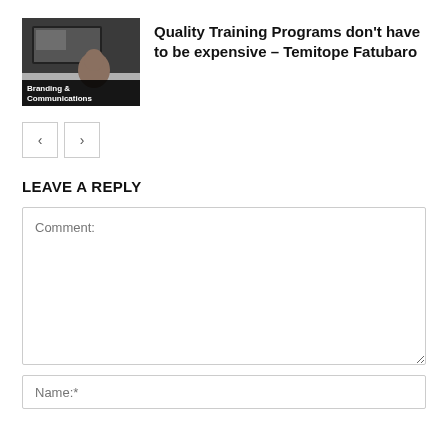[Figure (photo): Thumbnail image of a person with a monitor visible in the background. Overlay label reads 'Branding & Communications']
Quality Training Programs don't have to be expensive – Temitope Fatubaro
< >
LEAVE A REPLY
Comment:
Name:*